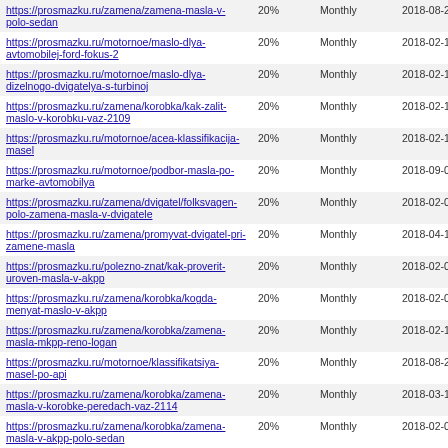| https://prosmazku.ru/zamena/zamena-masla-v-polo-sedan | 20% | Monthly | 2018-08-29 16:09 |
| https://prosmazku.ru/motornoe/maslo-dlya-avtomobilej-ford-fokus-2 | 20% | Monthly | 2018-02-12 16:32 |
| https://prosmazku.ru/motornoe/maslo-dlya-dizelnogo-dvigatelya-s-turbinoj | 20% | Monthly | 2018-02-12 09:40 |
| https://prosmazku.ru/zamena/korobka/kak-zalit-maslo-v-korobku-vaz-2109 | 20% | Monthly | 2018-02-12 08:24 |
| https://prosmazku.ru/motornoe/acea-klassifikacija-masel | 20% | Monthly | 2018-02-11 10:13 |
| https://prosmazku.ru/motornoe/podbor-masla-po-marke-avtomobilya | 20% | Monthly | 2018-09-04 06:01 |
| https://prosmazku.ru/zamena/dvigatel/folksvagen-polo-zamena-masla-v-dvigatele | 20% | Monthly | 2018-02-09 05:43 |
| https://prosmazku.ru/zamena/promyvat-dvigatel-pri-zamene-masla | 20% | Monthly | 2018-04-10 05:05 |
| https://prosmazku.ru/polezno-znat/kak-proverit-uroven-masla-v-akpp | 20% | Monthly | 2018-02-07 16:00 |
| https://prosmazku.ru/zamena/korobka/kogda-menyat-maslo-v-akpp | 20% | Monthly | 2018-02-06 12:35 |
| https://prosmazku.ru/zamena/korobka/zamena-masla-mkpp-reno-logan | 20% | Monthly | 2018-02-11 12:30 |
| https://prosmazku.ru/motornoe/klassifikatsiya-masel-po-api | 20% | Monthly | 2018-08-24 15:34 |
| https://prosmazku.ru/zamena/korobka/zamena-masla-v-korobke-peredach-vaz-2114 | 20% | Monthly | 2018-03-12 13:24 |
| https://prosmazku.ru/zamena/korobka/zamena-masla-v-akpp-polo-sedan | 20% | Monthly | 2018-02-02 07:31 |
Generated with Google (XML) Sitemaps Generator Plugin for WordPress by Auctollo. This XSLT template is released under the GPL and free to use. If you have problems with your sitemap please visit the support forum.